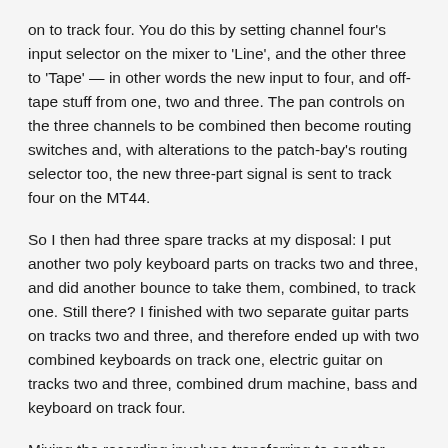on to track four. You do this by setting channel four's input selector on the mixer to 'Line', and the other three to 'Tape' — in other words the new input to four, and off-tape stuff from one, two and three. The pan controls on the three channels to be combined then become routing switches and, with alterations to the patch-bay's routing selector too, the new three-part signal is sent to track four on the MT44.
So I then had three spare tracks at my disposal: I put another two poly keyboard parts on tracks two and three, and did another bounce to take them, combined, to track one. Still there? I finished with two separate guitar parts on tracks two and three, and therefore ended up with two combined keyboards on track one, electric guitar on tracks two and three, combined drum machine, bass and keyboard on track four.
Mixing the recording involves transferring to another cassette deck, adjusting levels, tone, and echo of each track via the mixer and patch-bay.